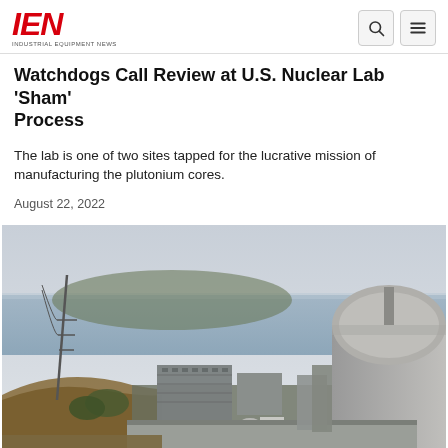IEN — INDUSTRIAL EQUIPMENT NEWS
Watchdogs Call Review at U.S. Nuclear Lab 'Sham' Process
The lab is one of two sites tapped for the lucrative mission of manufacturing the plutonium cores.
August 22, 2022
[Figure (photo): Aerial view of a nuclear laboratory facility near the ocean, with large concrete buildings, a dome-shaped reactor structure on the right, and hills in the background. Overcast sky.]
[Figure (other): Advertisement banner for Veryable On-Demand Labor, showing a welder image on the left, orange tagline button, and close X button.]